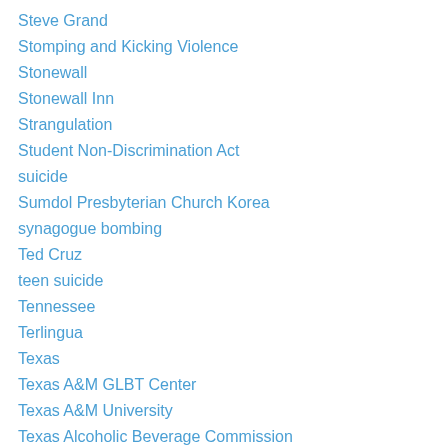Steve Grand
Stomping and Kicking Violence
Stonewall
Stonewall Inn
Strangulation
Student Non-Discrimination Act
suicide
Sumdol Presbyterian Church Korea
synagogue bombing
Ted Cruz
teen suicide
Tennessee
Terlingua
Texas
Texas A&M GLBT Center
Texas A&M University
Texas Alcoholic Beverage Commission
Texas Board of Pardons and Paroles
Texas Christian University (TCU)
Texas Rangers